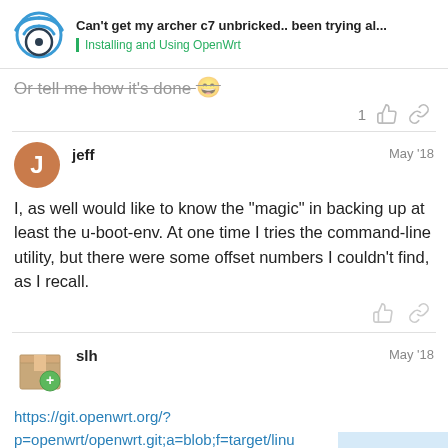Can't get my archer c7 unbricked.. been trying al... | Installing and Using OpenWrt
Or tell me how it's done 😄
1 👍 🔗
jeff — May '18
I, as well would like to know the "magic" in backing up at least the u-boot-env. At one time I tries the command-line utility, but there were some offset numbers I couldn't find, as I recall.
👍 🔗
slh — May '18
https://git.openwrt.org/?p=openwrt/openwrt.git;a=blob;f=target/linux/ic-tp-
9 / 44